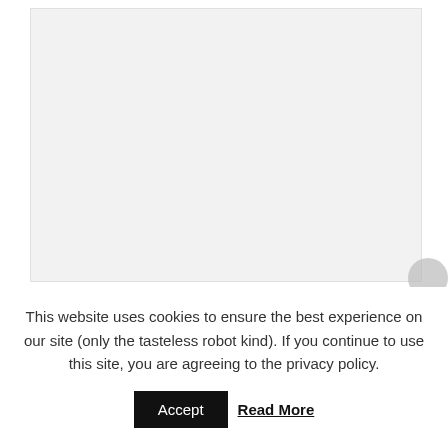[Figure (photo): Light gray placeholder image area, partially visible, with a gray circular element at the right edge]
During the train ride from Vancouver to Toronto,
This website uses cookies to ensure the best experience on our site (only the tasteless robot kind). If you continue to use this site, you are agreeing to the privacy policy.
Accept   Read More